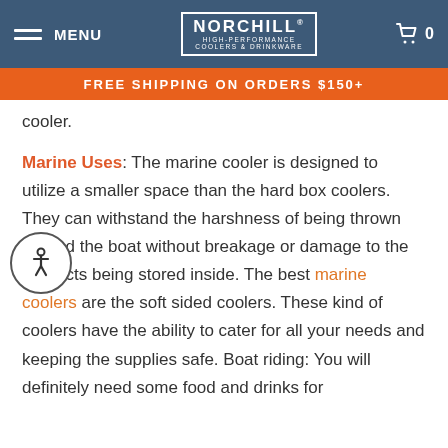MENU | NORCHILL HIGH-PERFORMANCE COOLERS & DRINKWARE | 0
FREE SHIPPING ON ORDERS $150+
cooler.
Marine Uses: The marine cooler is designed to utilize a smaller space than the hard box coolers. They can withstand the harshness of being thrown around the boat without breakage or damage to the products being stored inside. The best marine coolers are the soft sided coolers. These kind of coolers have the ability to cater for all your needs and keeping the supplies safe. Boat riding: You will definitely need some food and drinks for